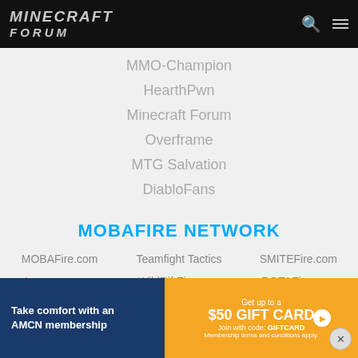MINECRAFT FORUM
MMO-Champion
HearthPwn
Minecraft Forum
Overframe
MTG Salvation
DiabloFans
MOBAFIRE NETWORK
MOBAFire.com
Teamfight Tactics
SMITEFire.com
Leaguespy.gg
WildRiftFire.com
DOTAFire.com
CounterStats.net
RuneterraFire.com
ArtifactFire.com
HeroesFire.com
[Figure (screenshot): Advertisement banner: Take comfort with an AMCN membership. Get up to a $50 GIFT CARD. Join with code: GIFTCARD. Membership terms and conditions apply.]